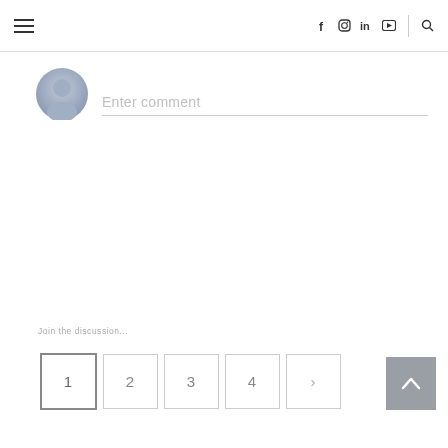≡ | f  [instagram]  in  [youtube]  | [search]
[Figure (screenshot): Comment input area with user avatar icon and 'Enter comment' placeholder text with underline]
Join the discussion...
1  2  3  4  >
[Figure (other): Back to top button with upward arrow, grey background]